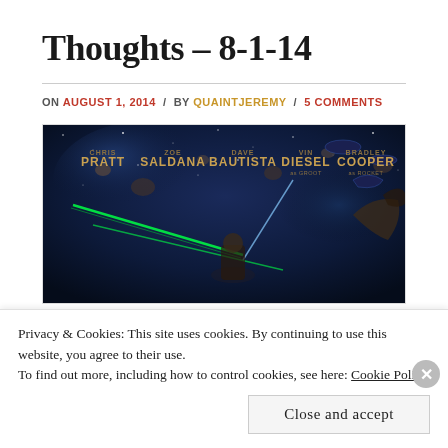Thoughts – 8-1-14
ON AUGUST 1, 2014 / BY QUAINTJEREMY / 5 COMMENTS
[Figure (photo): Guardians of the Galaxy movie poster showing Chris Pratt, Zoe Saldana, Dave Bautista, Vin Diesel as Groot, Bradley Cooper as Rocket. Space background with ships and laser beams.]
Privacy & Cookies: This site uses cookies. By continuing to use this website, you agree to their use.
To find out more, including how to control cookies, see here: Cookie Policy
Close and accept